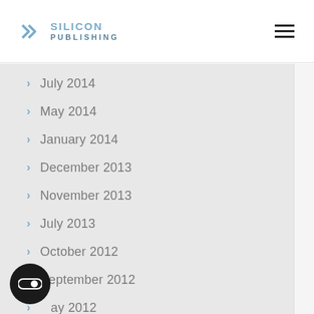Silicon Publishing
July 2014
May 2014
January 2014
December 2013
November 2013
July 2013
October 2012
September 2012
May 2012
February 2012